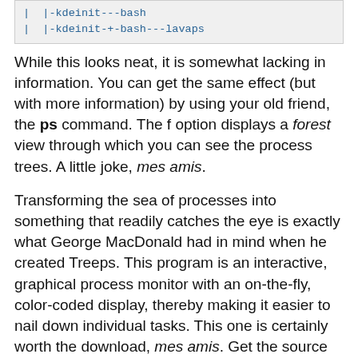[Figure (screenshot): Code box showing two lines of terminal output with process tree entries: '|  |-kdeinit---bash' and '|  |-kdeinit-+-bash---lavaps']
While this looks neat, it is somewhat lacking in information. You can get the same effect (but with more information) by using your old friend, the ps command. The f option displays a forest view through which you can see the process trees. A little joke, mes amis.
Transforming the sea of processes into something that readily catches the eye is exactly what George MacDonald had in mind when he created Treeps. This program is an interactive, graphical process monitor with an on-the-fly, color-coded display, thereby making it easier to nail down individual tasks. This one is certainly worth the download, mes amis. Get the source at the following URL: www.orbit2orbit.com/qmd/tps/treepsfm.html